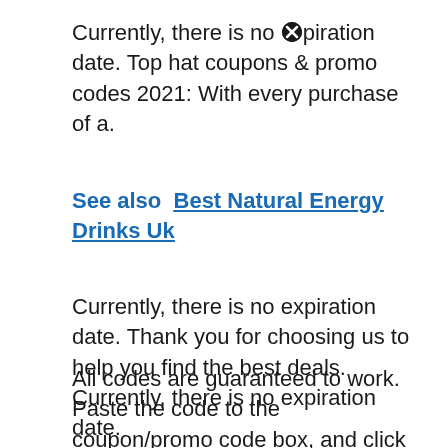Currently, there is no ✖ expiration date. Top hat coupons & promo codes 2021: With every purchase of a.
See also  Best Natural Energy Drinks Uk
Currently, there is no expiration date. Thank you for choosing us to help you find the best deals. Currently, there is no expiration date.
All codes are guaranteed to work. Paste the code to the coupon/promo code box, and click the ‘apply’ button for extra discount. Hotdeals provides all the latest promo codes, coupons of polo ralph ✖ uren.